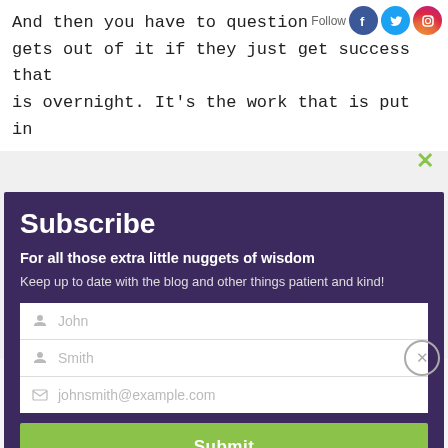And then you have to question what a person gets out of it if they just get success that is overnight. It's the work that is put in
[Figure (screenshot): Social media follow icons: Facebook (blue circle), Twitter (blue circle), Instagram (gradient circle), with 'Follow' label]
Subscribe
For all those extra little nuggets of wisdom
Keep up to date with the blog and other things patient and kind!
John (first name field placeholder)
Smith (last name field placeholder)
johnsmith@example.com (email field placeholder)
Submit
about yourself and how to get better at
Advertisements
[Figure (screenshot): Advertisements banner: 'ThePlatform Where WordPress Works Best' with Pressable logo on right]